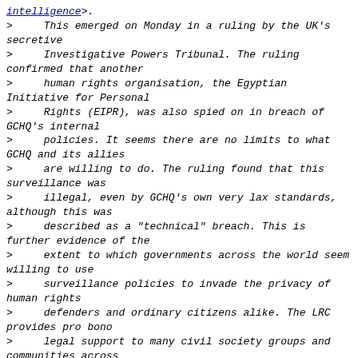intelligence>.
>     This emerged on Monday in a ruling by the UK's secretive
>     Investigative Powers Tribunal. The ruling confirmed that another
>     human rights organisation, the Egyptian Initiative for Personal
>     Rights (EIPR), was also spied on in breach of GCHQ's internal
>     policies. It seems there are no limits to what GCHQ and its allies
>     are willing to do. The ruling found that this surveillance was
>     illegal, even by GCHQ's own very lax standards, although this was
>     described as a "technical" breach. This is further evidence of the
>     extent to which governments across the world seem willing to use
>     surveillance policies to invade the privacy of human rights
>     defenders and ordinary citizens alike. The LRC provides pro bono
>     legal support to many civil society groups and communities across
>     South Africa, including the Right2Know Campaign. This surveillance
>     has potentially also violated the rights of the LRC's clients to
>     attorney-client confidentiality, although no